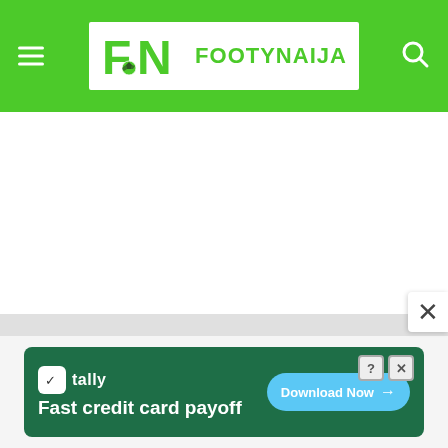FootyNaija
[Figure (screenshot): White blank content area below the header]
[Figure (other): Close (X) button overlay on right side]
[Figure (other): Tally advertisement banner: Fast credit card payoff - Download Now]